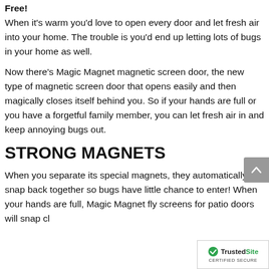Free!
When it's warm you'd love to open every door and let fresh air into your home. The trouble is you'd end up letting lots of bugs in your home as well.
Now there's Magic Magnet magnetic screen door, the new type of magnetic screen door that opens easily and then magically closes itself behind you. So if your hands are full or you have a forgetful family member, you can let fresh air in and keep annoying bugs out.
STRONG MAGNETS
When you separate its special magnets, they automatically snap back together so bugs have little chance to enter! When your hands are full, Magic Magnet fly screens for patio doors will snap cl...